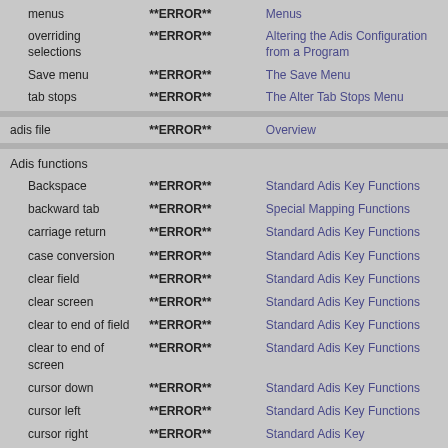| Term | Error | Link |
| --- | --- | --- |
| menus | **ERROR** | Menus |
| overriding selections | **ERROR** | Altering the Adis Configuration from a Program |
| Save menu | **ERROR** | The Save Menu |
| tab stops | **ERROR** | The Alter Tab Stops Menu |
| adis file | **ERROR** | Overview |
| Adis functions |  |  |
| Backspace | **ERROR** | Standard Adis Key Functions |
| backward tab | **ERROR** | Special Mapping Functions |
| carriage return | **ERROR** | Standard Adis Key Functions |
| case conversion | **ERROR** | Standard Adis Key Functions |
| clear field | **ERROR** | Standard Adis Key Functions |
| clear screen | **ERROR** | Standard Adis Key Functions |
| clear to end of field | **ERROR** | Standard Adis Key Functions |
| clear to end of screen | **ERROR** | Standard Adis Key Functions |
| cursor down | **ERROR** | Standard Adis Key Functions |
| cursor left | **ERROR** | Standard Adis Key Functions |
| cursor right | **ERROR** | Standard Adis Key Functions |